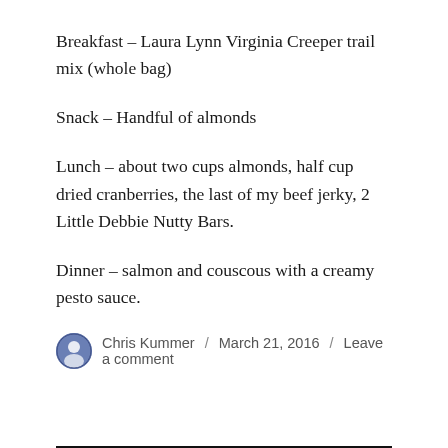Breakfast – Laura Lynn Virginia Creeper trail mix (whole bag)
Snack – Handful of almonds
Lunch – about two cups almonds, half cup dried cranberries, the last of my beef jerky, 2 Little Debbie Nutty Bars.
Dinner – salmon and couscous with a creamy pesto sauce.
Chris Kummer / March 21, 2016 / Leave a comment